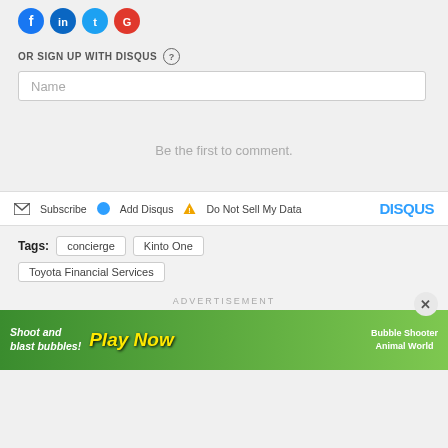[Figure (screenshot): Social media sign-in icon buttons (Facebook, LinkedIn, Twitter, Google/YouTube)]
OR SIGN UP WITH DISQUS ?
Name
Be the first to comment.
Subscribe  Add Disqus  Do Not Sell My Data  DISQUS
Tags: concierge  Kinto One  Toyota Financial Services
ADVERTISEMENT